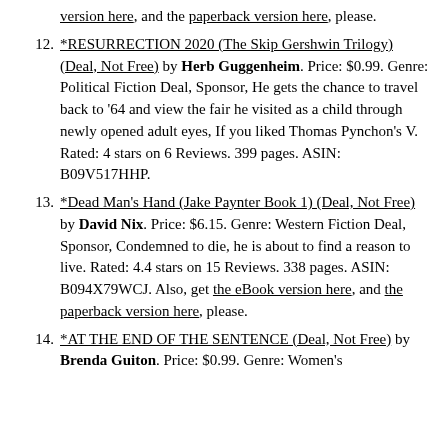version here, and the paperback version here, please.
12. *RESURRECTION 2020 (The Skip Gershwin Trilogy) (Deal, Not Free) by Herb Guggenheim. Price: $0.99. Genre: Political Fiction Deal, Sponsor, He gets the chance to travel back to '64 and view the fair he visited as a child through newly opened adult eyes, If you liked Thomas Pynchon's V. Rated: 4 stars on 6 Reviews. 399 pages. ASIN: B09V517HHP.
13. *Dead Man's Hand (Jake Paynter Book 1) (Deal, Not Free) by David Nix. Price: $6.15. Genre: Western Fiction Deal, Sponsor, Condemned to die, he is about to find a reason to live. Rated: 4.4 stars on 15 Reviews. 338 pages. ASIN: B094X79WCJ. Also, get the eBook version here, and the paperback version here, please.
14. *AT THE END OF THE SENTENCE (Deal, Not Free) by Brenda Guiton. Price: $0.99. Genre: Women's